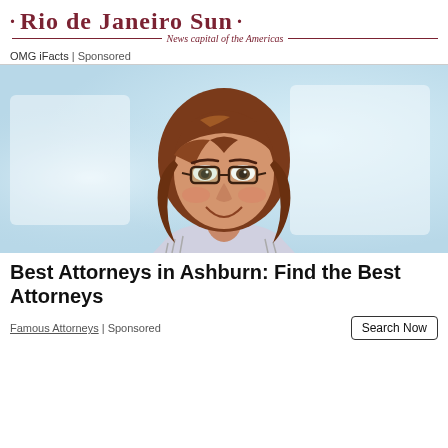Rio de Janeiro Sun — News capital of the Americas
OMG iFacts | Sponsored
[Figure (photo): Portrait photo of a smiling woman with auburn/brown wavy hair, wearing glasses and a striped top, against a light blue background.]
Best Attorneys in Ashburn: Find the Best Attorneys
Famous Attorneys | Sponsored
Search Now